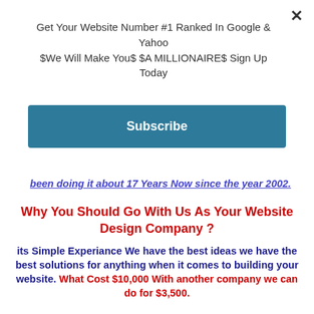×
Get Your Website Number #1 Ranked In Google & Yahoo $We Will Make You$ $A MILLIONAIRE$ Sign Up Today
Subscribe
been doing it about 17 Years Now since the year 2002.
Why You Should Go With Us As Your Website Design Company ?
its Simple Experiance We have the best ideas we have the best solutions for anything when it comes to building your website. What Cost $10,000 With another company we can do for $3,500.
What Should I Be Looking for When Shopping for a Website Design Company ?
Well Simple Can Website Get Website traffic ? Are they high ranked in Google, Yahoo & Bing or Search Engine Optimization (SEO) ? Does There Website Look Like its Trust Worthy are the Graphics & Information Good ? Does It Look Professional Can